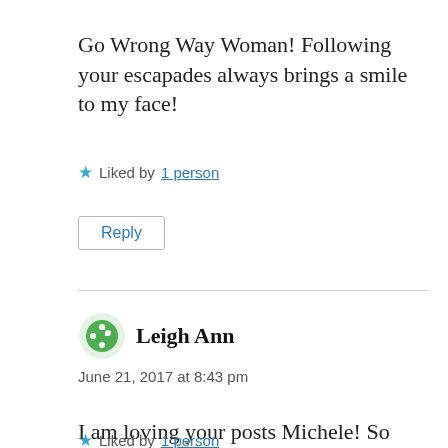Go Wrong Way Woman! Following your escapades always brings a smile to my face!
★ Liked by 1 person
Reply
Leigh Ann
June 21, 2017 at 8:43 pm
I am loving your posts Michele! So many wonderful stories to tell! I can't believe it is already day 21! 🙂
★ Liked by 1 person